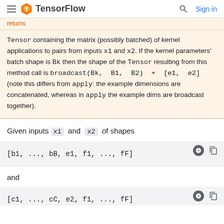TensorFlow — Sign in
returns
Tensor containing the matrix (possibly batched) of kernel applications to pairs from inputs x1 and x2. If the kernel parameters' batch shape is Bk then the shape of the Tensor resulting from this method call is broadcast(Bk, B1, B2) + [e1, e2] (note this differs from apply: the example dimensions are concatenated, whereas in apply the example dims are broadcast together).
Given inputs x1 and x2 of shapes
[b1, ..., bB, e1, f1, ..., fF]
and
[c1, ..., cC, e2, f1, ..., fF]